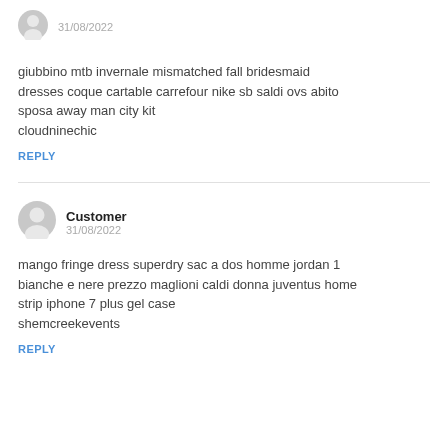[Figure (illustration): Small grey user avatar icon (silhouette)]
31/08/2022
giubbino mtb invernale mismatched fall bridesmaid dresses coque cartable carrefour nike sb saldi ovs abito sposa away man city kit
cloudninechic
REPLY
[Figure (illustration): Larger grey user avatar icon (silhouette) with Customer label]
Customer
31/08/2022
mango fringe dress superdry sac a dos homme jordan 1 bianche e nere prezzo maglioni caldi donna juventus home strip iphone 7 plus gel case
shemcreekevents
REPLY